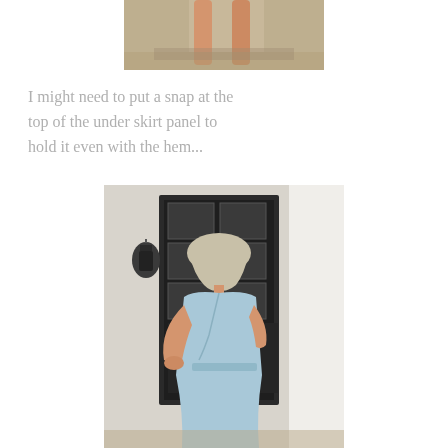[Figure (photo): Cropped photo showing the lower half of a person wearing a dress, standing on a porch or entryway, showing bare legs and feet.]
I might need to put a snap at the top of the under skirt panel to hold it even with the hem...
[Figure (photo): Woman with gray-blonde hair wearing a light blue sleeveless wrap dress, standing outdoors in front of a black French door and white column, looking down.]